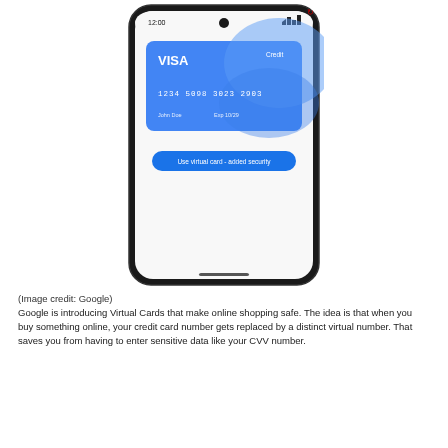[Figure (screenshot): A smartphone displaying a Google Wallet virtual card interface. The screen shows a blue Visa credit card with number '1234 5098 3023 2903', name line and expiry 'Exp 10/29', and a blue button at the bottom reading 'Use virtual card - added security'.]
(Image credit: Google)
Google is introducing Virtual Cards that make online shopping safe. The idea is that when you buy something online, your credit card number gets replaced by a distinct virtual number. That saves you from having to enter sensitive data like your CVV number.